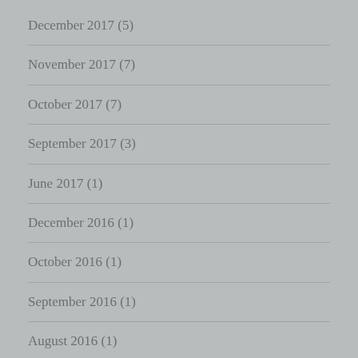December 2017 (5)
November 2017 (7)
October 2017 (7)
September 2017 (3)
June 2017 (1)
December 2016 (1)
October 2016 (1)
September 2016 (1)
August 2016 (1)